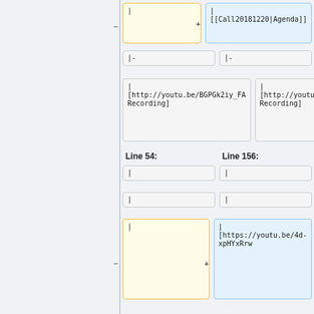| [[Call20181220|Agenda]]
|-
| [http://youtu.be/BGPGk2iy_FA Recording]
Line 54:
Line 156:
|
|
| [https://youtu.be/4d-xpHYxRrw